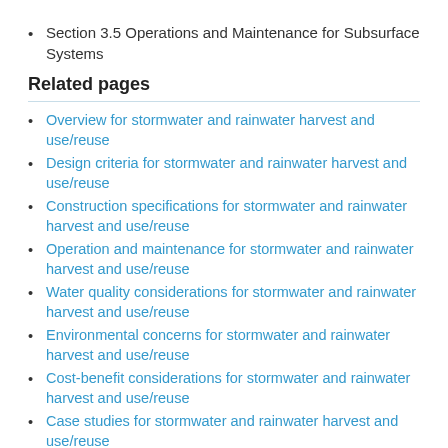Section 3.5 Operations and Maintenance for Subsurface Systems
Related pages
Overview for stormwater and rainwater harvest and use/reuse
Design criteria for stormwater and rainwater harvest and use/reuse
Construction specifications for stormwater and rainwater harvest and use/reuse
Operation and maintenance for stormwater and rainwater harvest and use/reuse
Water quality considerations for stormwater and rainwater harvest and use/reuse
Environmental concerns for stormwater and rainwater harvest and use/reuse
Cost-benefit considerations for stormwater and rainwater harvest and use/reuse
Case studies for stormwater and rainwater harvest and use/reuse
Calculatio...